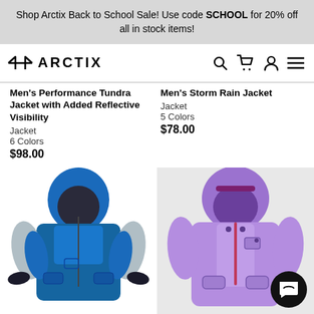Shop Arctix Back to School Sale! Use code SCHOOL for 20% off all in stock items!
[Figure (logo): Arctix brand logo with stylized X icon and ARCTIX text]
Men's Performance Tundra Jacket with Added Reflective Visibility
Jacket
6 Colors
$98.00
Men's Storm Rain Jacket
Jacket
5 Colors
$78.00
[Figure (photo): Blue and grey children's ski/snow jacket with hood]
[Figure (photo): Lavender/purple children's winter jacket with hood and magenta zipper]